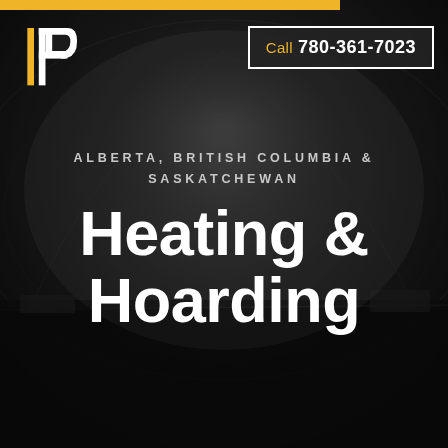[Figure (photo): Dark background photo of interior of a large fabric dome or tent structure used for heating and hoarding, with a concrete floor and dim lighting]
[Figure (logo): Letter P logo with yellow accent bar on the left side, white angular P shape]
Call 780-361-7023
ALBERTA, BRITISH COLUMBIA & SASKATCHEWAN
Heating & Hoarding